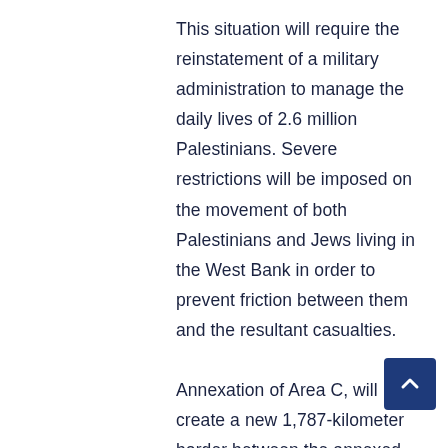This situation will require the reinstatement of a military administration to manage the daily lives of 2.6 million Palestinians. Severe restrictions will be imposed on the movement of both Palestinians and Jews living in the West Bank in order to prevent friction between them and the resultant casualties.

Annexation of Area C, will create a new 1,787-kilometer border between the annexed area and the rest of the West Bank. Preventing Palestinians and residents of the un-annexed areas from